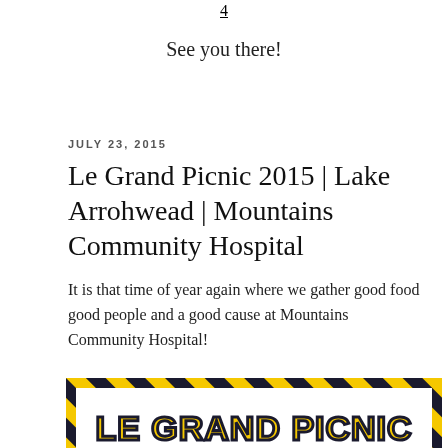4
See you there!
JULY 23, 2015
Le Grand Picnic 2015 | Lake Arrohwead | Mountains Community Hospital
It is that time of year again where we gather good food good people and a good cause at Mountains Community Hospital!
[Figure (illustration): Flyer for Le Grand Picnic with yellow and black construction-style border. Text reads: LE GRAND PICNIC, COME SEE WHAT WE'RE DOING!, with bullet points: SILENT AUCTION, LIVE AUCTION, REVERSE AUCTION. An orange construction cone is visible at the right side.]